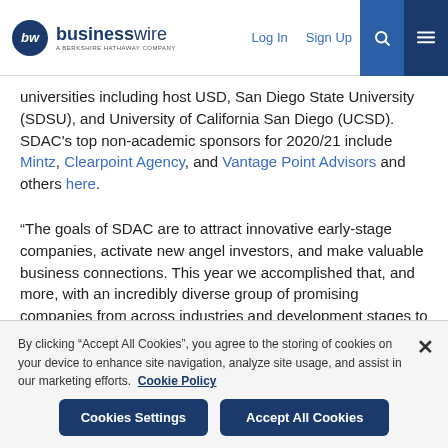businesswire — A BERKSHIRE HATHAWAY COMPANY | Log In | Sign Up
universities including host USD, San Diego State University (SDSU), and University of California San Diego (UCSD). SDAC's top non-academic sponsors for 2020/21 include Mintz, Clearpoint Agency, and Vantage Point Advisors and others here.
“The goals of SDAC are to attract innovative early-stage companies, activate new angel investors, and make valuable business connections. This year we accomplished that, and more, with an incredibly diverse group of promising companies from across industries and development stages to present to our angel investors,” said SDAC III Fund Manager Amy Duncan. “We look
By clicking “Accept All Cookies”, you agree to the storing of cookies on your device to enhance site navigation, analyze site usage, and assist in our marketing efforts. Cookie Policy
Cookies Settings | Accept All Cookies